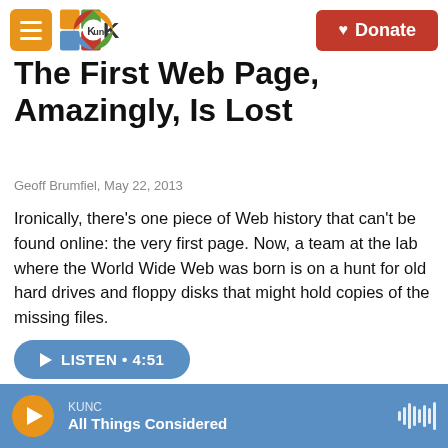KUNC | Donate
The First Web Page, Amazingly, Is Lost
Geoff Brumfiel, May 22, 2013
Ironically, there's one piece of Web history that can't be found online: the very first page. Now, a team at the lab where the World Wide Web was born is on a hunt for old hard drives and floppy disks that might hold copies of the missing files.
[Figure (screenshot): Listen button: LISTEN • 4:51]
[Figure (photo): Partial photo of a person's head from above]
KUNC — All Things Considered